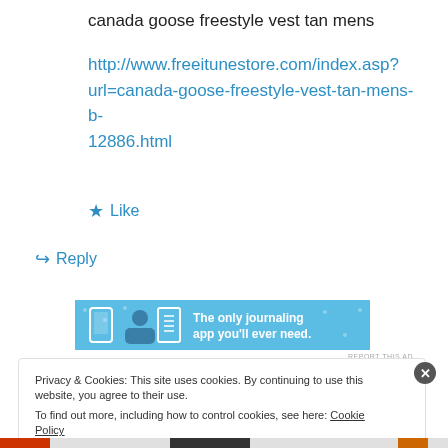canada goose freestyle vest tan mens
http://www.freeitunestore.com/index.asp?url=canada-goose-freestyle-vest-tan-mens-b-12886.html
★ Like
↪ Reply
[Figure (screenshot): Advertisement banner: light blue background with icons and text 'The only journaling app you'll ever need.']
REPORT THIS AD
Privacy & Cookies: This site uses cookies. By continuing to use this website, you agree to their use.
To find out more, including how to control cookies, see here: Cookie Policy
Close and accept